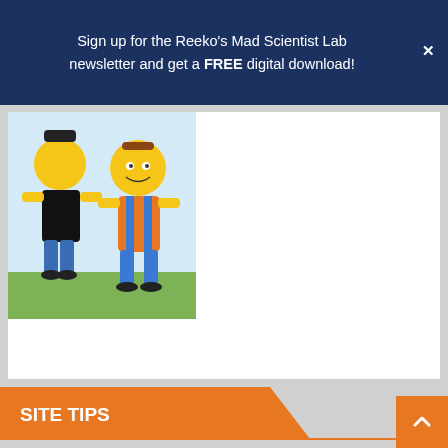Sign up for the Reeko's Mad Scientist Lab newsletter and get a FREE digital download!
[Figure (illustration): Cartoon characters from The Simpsons - two figures standing, one in orange shirt and overalls]
SITE TIPS
- Explore! Explore! Explore! There's more here than meets the eye
- Register and log in for additional stats and access to member only games and content
- Bill Nye is a science guy, not a wiseguy (and there are rumours he is an alien)
- Look for hidden science tips throughout the site
- Visitors who tell 1 dozen friends or share 30+ Reeko